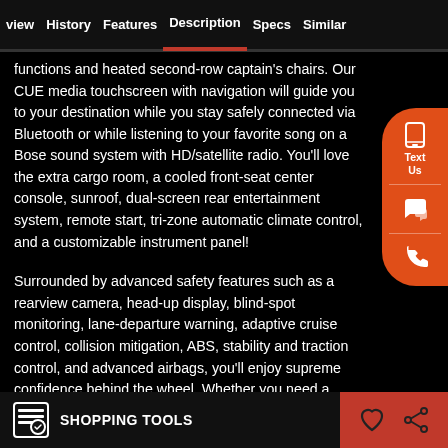view  History  Features  Description  Specs  Similar
functions and heated second-row captain's chairs. Our CUE media touchscreen with navigation will guide you to your destination while you stay safely connected via Bluetooth or while listening to your favorite song on a Bose sound system with HD/satellite radio. You'll love the extra cargo room, a cooled front-seat center console, sunroof, dual-screen rear entertainment system, remote start, tri-zone automatic climate control, and a customizable instrument panel!
Surrounded by advanced safety features such as a rearview camera, head-up display, blind-spot monitoring, lane-departure warning, adaptive cruise control, collision mitigation, ABS, stability and traction control, and advanced airbags, you'll enjoy supreme confidence behind the wheel. Whether you need a luxurious family hauler or just an amazing ride, this Escalade ESV
SHOPPING TOOLS